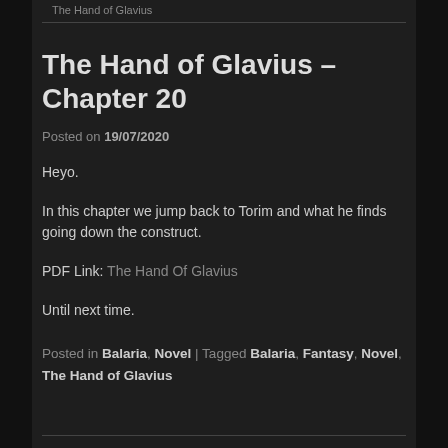The Hand of Glavius
The Hand of Glavius – Chapter 20
Posted on 19/07/2020
Heyo.
In this chapter we jump back to Torim and what he finds going down the construct.
PDF Link: The Hand Of Glavius
Until next time.
Posted in Balaria, Novel | Tagged Balaria, Fantasy, Novel, The Hand of Glavius